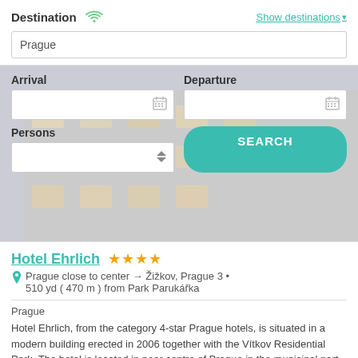Destination
Show destinations
Prague
Arrival
Departure
Persons
SEARCH
Hotel Ehrlich ★★★★
Prague close to center → Žižkov, Prague 3 • 510 yd ( 470 m ) from Park Parukářka
Prague
Hotel Ehrlich, from the category 4-star Prague hotels, is situated in a modern building erected in 2006 together with the Vítkov Residential Park. The hotel is located in near centre of Prague in the municipal part of Prague 3 –